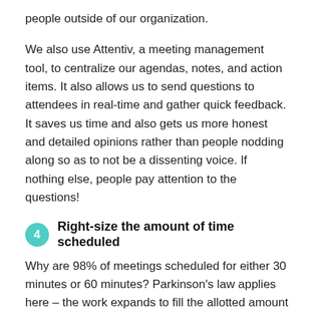people outside of our organization.
We also use Attentiv, a meeting management tool, to centralize our agendas, notes, and action items. It also allows us to send questions to attendees in real-time and gather quick feedback. It saves us time and also gets us more honest and detailed opinions rather than people nodding along so as to not be a dissenting voice. If nothing else, people pay attention to the questions!
4  Right-size the amount of time scheduled
Why are 98% of meetings scheduled for either 30 minutes or 60 minutes? Parkinson's law applies here – the work expands to fill the allotted amount of time. If I suspect a meeting could and should be faster, I'll schedule it for 15 minutes instead of 30, or perhaps 40